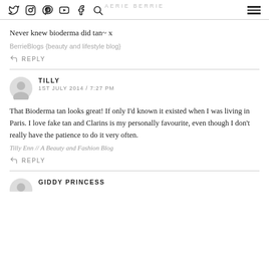AERIE BERRIE — social icons and navigation
Never knew bioderma did tan~ x
BerrieBlogs {beauty and lifestyle blog}
REPLY
TILLY
1ST JULY 2014 / 7:27 PM
That Bioderma tan looks great! If only I'd known it existed when I was living in Paris. I love fake tan and Clarins is my personally favourite, even though I don't really have the patience to do it very often.
Tilly Enn // A Beauty and Fashion Blog
REPLY
GIDDY PRINCESS